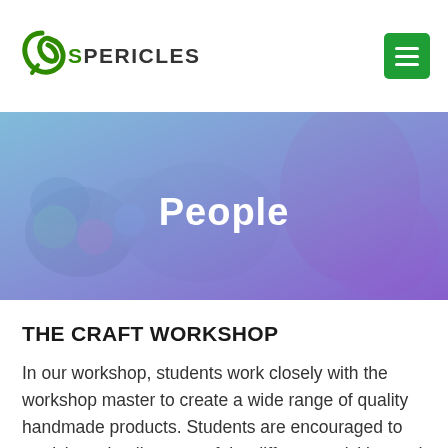SPERICLES
[Figure (photo): Hero banner image showing a person doing craft work with yarn/embroidery, overlaid with a blue-to-purple gradient tint, with the text 'People' centered on top.]
People
THE CRAFT WORKSHOP
In our workshop, students work closely with the workshop master to create a wide range of quality handmade products. Students are encouraged to participate in all stages of the different activities and they will develop their